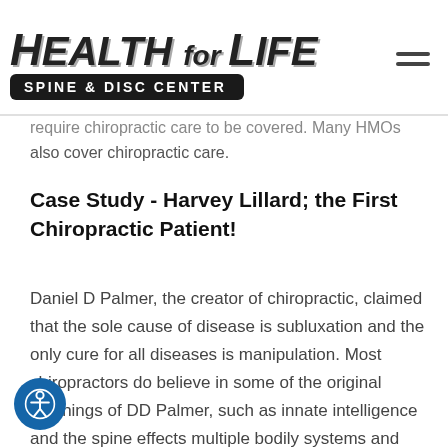[Figure (logo): Health for Life Spine & Disc Center logo with italic bold text and black pill-shaped subtitle banner]
require chiropractic care to be covered. Many HMOs also cover chiropractic care.
Case Study - Harvey Lillard; the First Chiropractic Patient!
Daniel D Palmer, the creator of chiropractic, claimed that the sole cause of disease is subluxation and the only cure for all diseases is manipulation. Most chiropractors do believe in some of the original teachings of DD Palmer, such as innate intelligence and the spine effects multiple bodily systems and